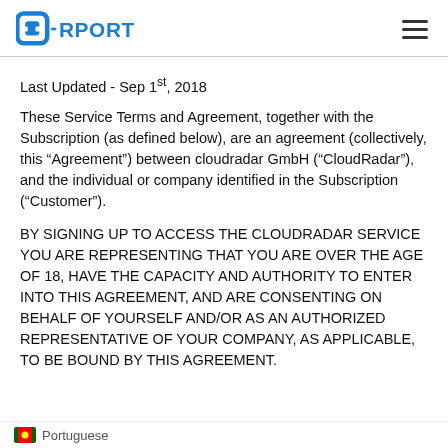RPORT (logo) | hamburger menu
Last Updated - Sep 1st, 2018
These Service Terms and Agreement, together with the Subscription (as defined below), are an agreement (collectively, this “Agreement”) between cloudradar GmbH (“CloudRadar”), and the individual or company identified in the Subscription (“Customer”).
BY SIGNING UP TO ACCESS THE CLOUDRADAR SERVICE YOU ARE REPRESENTING THAT YOU ARE OVER THE AGE OF 18, HAVE THE CAPACITY AND AUTHORITY TO ENTER INTO THIS AGREEMENT, AND ARE CONSENTING ON BEHALF OF YOURSELF AND/OR AS AN AUTHORIZED REPRESENTATIVE OF YOUR COMPANY, AS APPLICABLE, TO BE BOUND BY THIS AGREEMENT.
Portuguese (translation bar)